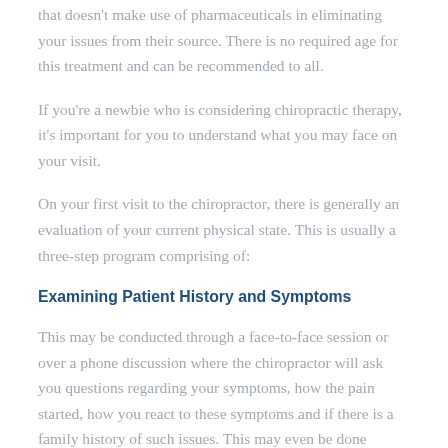that doesn't make use of pharmaceuticals in eliminating your issues from their source. There is no required age for this treatment and can be recommended to all.
If you're a newbie who is considering chiropractic therapy, it's important for you to understand what you may face on your visit.
On your first visit to the chiropractor, there is generally an evaluation of your current physical state. This is usually a three-step program comprising of:
Examining Patient History and Symptoms
This may be conducted through a face-to-face session or over a phone discussion where the chiropractor will ask you questions regarding your symptoms, how the pain started, how you react to these symptoms and if there is a family history of such issues. This may even be done through a form on your initial visit.